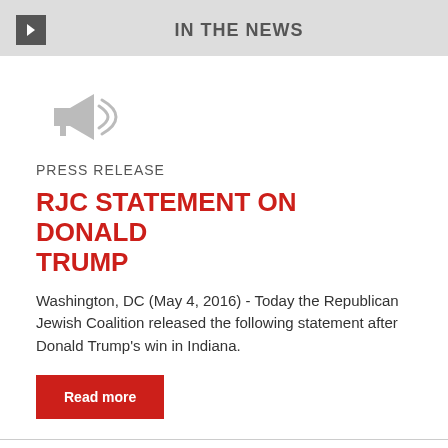IN THE NEWS
[Figure (illustration): Megaphone / loudspeaker icon in grey]
PRESS RELEASE
RJC STATEMENT ON DONALD TRUMP
Washington, DC (May 4, 2016) - Today the Republican Jewish Coalition released the following statement after Donald Trump's win in Indiana.
Read more
[Figure (illustration): Megaphone / loudspeaker icon in grey]
PRESS RELEASE